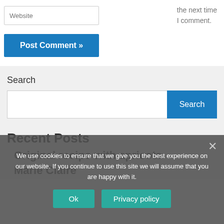Website
the next time I comment.
Post Comment »
Search
Search
Recent Posts
Original recipe with apricots
Marie Claire
We use cookies to ensure that we give you the best experience on our website. If you continue to use this site we will assume that you are happy with it.
Ok
Privacy policy